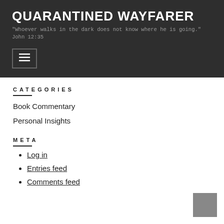QUARANTINED WAYFARER
"Whoever walks in the dark does not know where he is going." John 12:35
[Figure (other): Hamburger menu button icon with three horizontal lines]
CATEGORIES
Book Commentary
Personal Insights
META
Log in
Entries feed
Comments feed